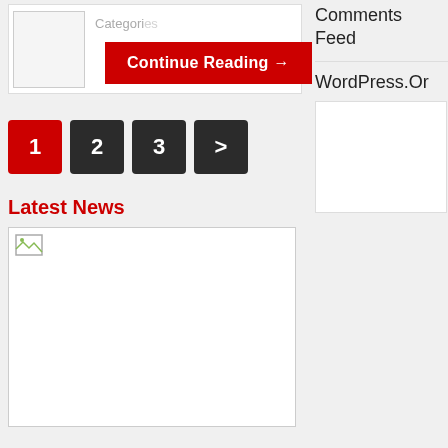Categories
Continue Reading →
1
2
3
>
Latest News
[Figure (photo): Broken image placeholder for a news article image]
Comments Feed
WordPress.Or